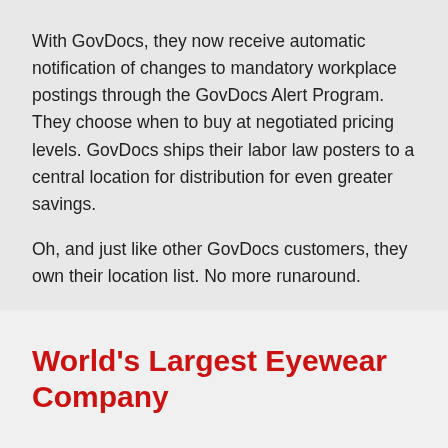With GovDocs, they now receive automatic notification of changes to mandatory workplace postings through the GovDocs Alert Program. They choose when to buy at negotiated pricing levels. GovDocs ships their labor law posters to a central location for distribution for even greater savings.
Oh, and just like other GovDocs customers, they own their location list. No more runaround.
World's Largest Eyewear Company